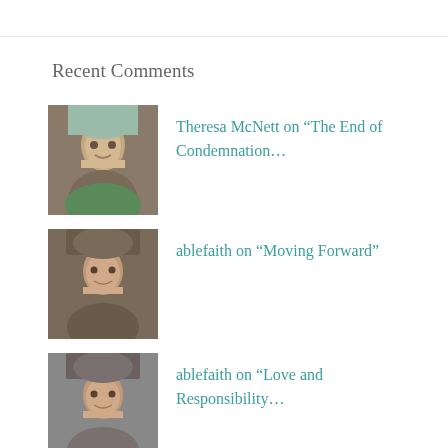Recent Comments
Theresa McNett on “The End of Condemnation…
ablefaith on “Moving Forward”
ablefaith on “Love and Responsibility…
ablefaith on “Finding Peace in the St…
Maundy Thursday Homi… on 6 Lenten Reflections on Holy C…